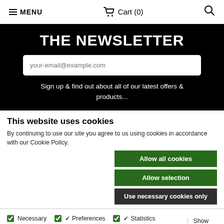≡ MENU   🛒 Cart (0)   🔍
THE NEWSLETTER
your-email@example.com
Sign up & find out about all of our latest offers & products...
This website uses cookies
By continuing to use our site you agree to us using cookies in accordance with our Cookie Policy.
Allow all cookies
Allow selection
Use necessary cookies only
Necessary  Preferences  Statistics  Marketing  Show details